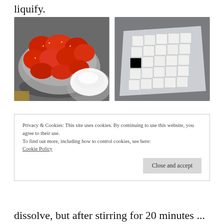liquify.
[Figure (photo): Two bowls on a counter — one with sliced strawberries and one with white powder (sugar or flour)]
[Figure (photo): White cubed pieces (likely butter or tofu) arranged on a piece of foil or plastic wrap on a grey countertop]
Privacy & Cookies: This site uses cookies. By continuing to use this website, you agree to their use.
To find out more, including how to control cookies, see here:
Cookie Policy
Close and accept
dissolve, but after stirring for 20 minutes ...